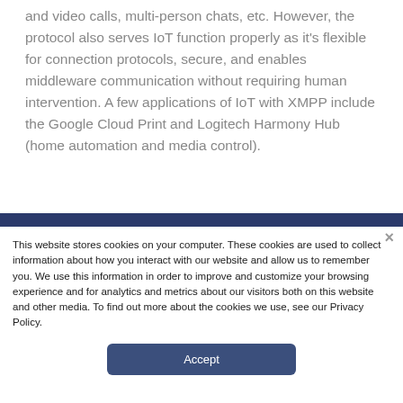and video calls, multi-person chats, etc. However, the protocol also serves IoT function properly as it's flexible for connection protocols, secure, and enables middleware communication without requiring human intervention. A few applications of IoT with XMPP include the Google Cloud Print and Logitech Harmony Hub (home automation and media control).
This website stores cookies on your computer. These cookies are used to collect information about how you interact with our website and allow us to remember you. We use this information in order to improve and customize your browsing experience and for analytics and metrics about our visitors both on this website and other media. To find out more about the cookies we use, see our Privacy Policy.